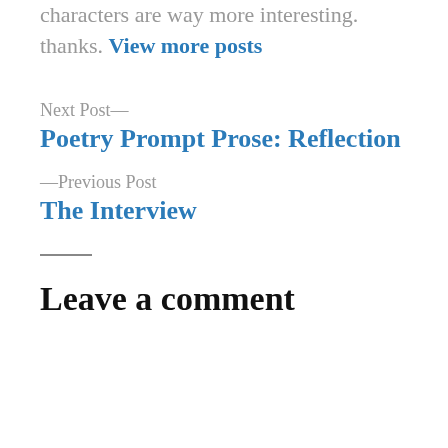characters are way more interesting. thanks. View more posts
Next Post—
Poetry Prompt Prose: Reflection
—Previous Post
The Interview
Leave a comment